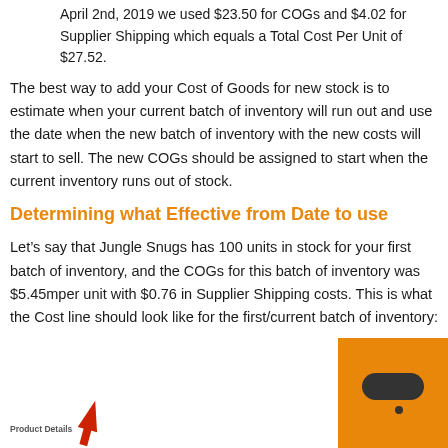April 2nd, 2019 we used $23.50 for COGs and $4.02 for Supplier Shipping which equals a Total Cost Per Unit of $27.52.
The best way to add your Cost of Goods for new stock is to estimate when your current batch of inventory will run out and use the date when the new batch of inventory with the new costs will start to sell. The new COGs should be assigned to start when the current inventory runs out of stock.
Determining what Effective from Date to use
Let’s say that Jungle Snugs has 100 units in stock for your first batch of inventory, and the COGs for this batch of inventory was $5.45mper unit with $0.76 in Supplier Shipping costs. This is what the Cost line should look like for the first/current batch of inventory:
Product Details
[Figure (screenshot): Partial screenshot of a product details cost line interface, with red arrows pointing to fields, and an orange help/chat bubble overlay in the bottom right corner.]